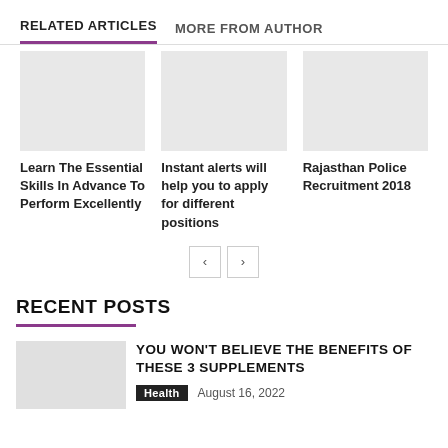RELATED ARTICLES   MORE FROM AUTHOR
[Figure (photo): Empty image placeholder for article 1]
Learn The Essential Skills In Advance To Perform Excellently
[Figure (photo): Empty image placeholder for article 2]
Instant alerts will help you to apply for different positions
[Figure (photo): Empty image placeholder for article 3]
Rajasthan Police Recruitment 2018
RECENT POSTS
[Figure (photo): Empty image placeholder for recent post]
YOU WON'T BELIEVE THE BENEFITS OF THESE 3 SUPPLEMENTS
Health   August 16, 2022